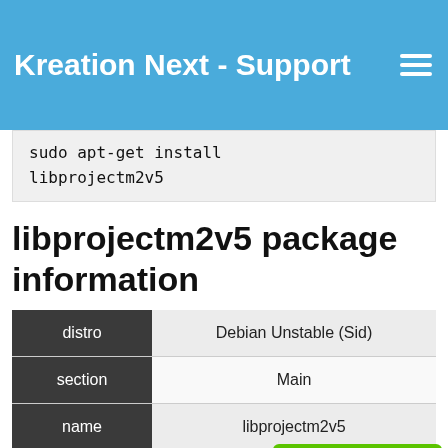Kreation Next - Support
sudo apt-get install
libprojectm2v5
libprojectm2v5 package information
|  |  |
| --- | --- |
| distro | Debian Unstable (Sid) |
| section | Main |
| name | libprojectm2v5 |
| version | 2.1.0+dfsg-3+b1 |